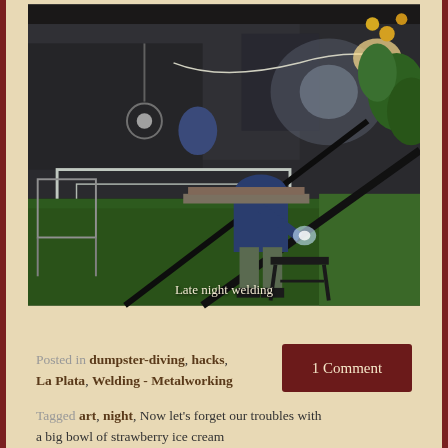[Figure (photo): Nighttime outdoor scene showing a person welding a large metal frame on a grass lawn, with garden plants and workshop equipment visible in the background. Caption 'Late night welding' overlaid at bottom.]
Late night welding
Posted in dumpster-diving, hacks, La Plata, Welding - Metalworking
1 Comment
Tagged art, night, Now let's forget our troubles with a big bowl of strawberry ice cream